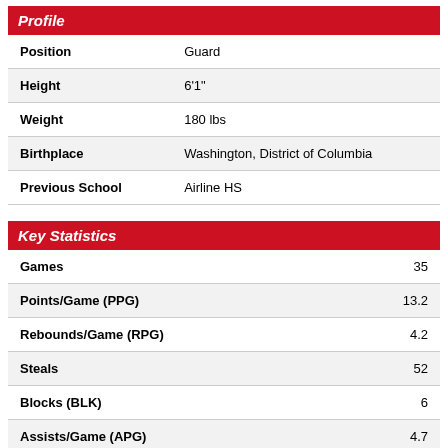Profile
| Field | Value |
| --- | --- |
| Position | Guard |
| Height | 6'1" |
| Weight | 180 lbs |
| Birthplace | Washington, District of Columbia |
| Previous School | Airline HS |
Key Statistics
| Stat | Value |
| --- | --- |
| Games | 35 |
| Points/Game (PPG) | 13.2 |
| Rebounds/Game (RPG) | 4.2 |
| Steals | 52 |
| Blocks (BLK) | 6 |
| Assists/Game (APG) | 4.7 |